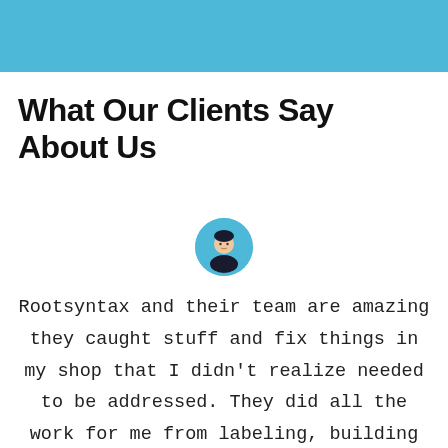[Figure (illustration): Solid sky-blue horizontal banner bar at the top of the page]
What Our Clients Say About Us
[Figure (photo): Circular avatar photo of a person wearing black, arms crossed, on a blue background]
Rootsyntax and their team are amazing they caught stuff and fix things in my shop that I didn't realize needed to be addressed. They did all the work for me from labeling, building the theme and color scheme to